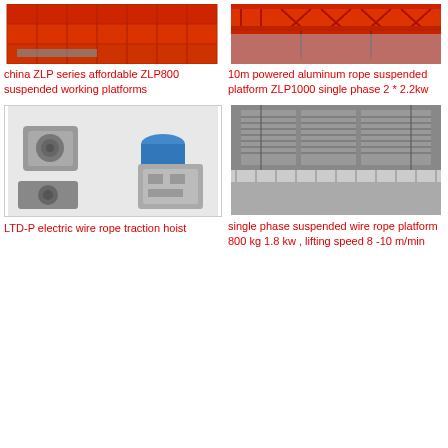[Figure (photo): Red/orange building facade with suspended working platform visible]
china ZLP series affordable ZLP800 suspended working platforms
[Figure (photo): Red overhead crane or gantry structure with suspended platform]
10m powered aluminum rope suspended platform ZLP1000 single phase 2 * 2.2kw
[Figure (photo): LTD-P electric wire rope traction hoist components - motor and control box]
LTD-P electric wire rope traction hoist
[Figure (photo): Single phase suspended wire rope platform installed on building exterior]
single phase suspended wire rope platform 800 kg 1.8 kw , lifting speed 8 -10 m/min